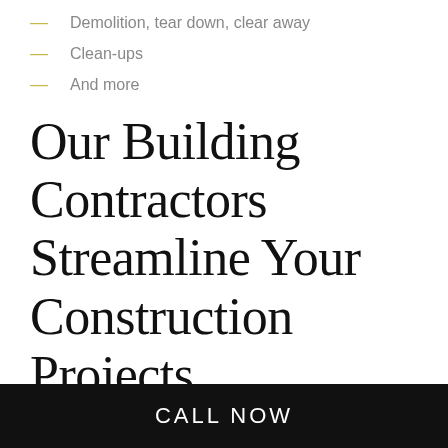Demolition, tear down, clear away
Clean-ups
And more
Our Building Contractors Streamline Your Construction Projects
With a business to run, family obligations, and daily chores the average home and business owner rarely have time to
CALL NOW